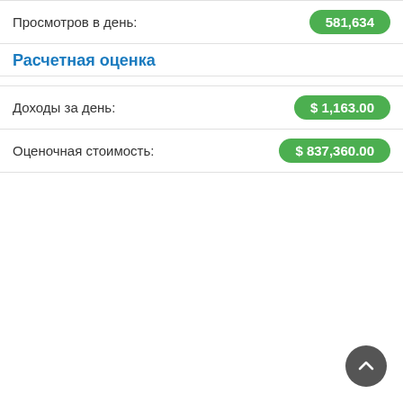Просмотров в день: 581,634
Расчетная оценка
Доходы за день: $ 1,163.00
Оценочная стоимость: $ 837,360.00